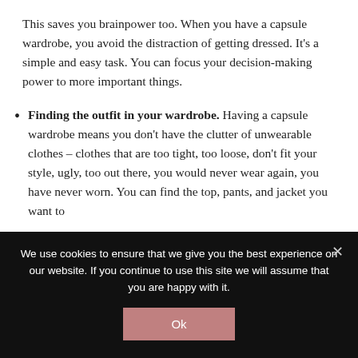This saves you brainpower too. When you have a capsule wardrobe, you avoid the distraction of getting dressed. It’s a simple and easy task. You can focus your decision-making power to more important things.
Finding the outfit in your wardrobe. Having a capsule wardrobe means you don’t have the clutter of unwearable clothes – clothes that are too tight, too loose, don’t fit your style, ugly, too out there, you would never wear again, you have never worn. You can find the top, pants, and jacket you want to
We use cookies to ensure that we give you the best experience on our website. If you continue to use this site we will assume that you are happy with it.